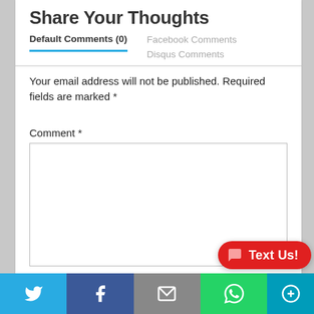Share Your Thoughts
Default Comments (0)
Facebook Comments
Disqus Comments
Your email address will not be published. Required fields are marked *
Comment *
[Figure (screenshot): Empty comment text area input box with border]
[Figure (infographic): Social sharing bar with Twitter, Facebook, Email, WhatsApp icons and Text Us button]